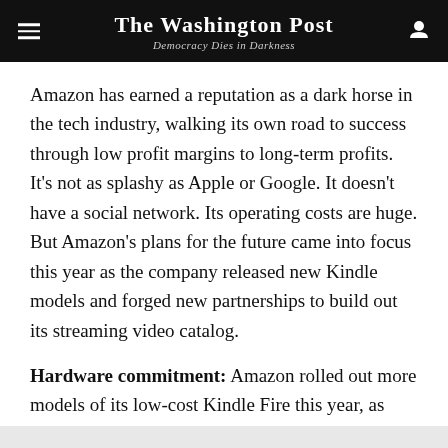The Washington Post — Democracy Dies in Darkness
Amazon has earned a reputation as a dark horse in the tech industry, walking its own road to success through low profit margins to long-term profits. It's not as splashy as Apple or Google. It doesn't have a social network. Its operating costs are huge. But Amazon's plans for the future came into focus this year as the company released new Kindle models and forged new partnerships to build out its streaming video catalog.
Hardware commitment: Amazon rolled out more models of its low-cost Kindle Fire this year, as well as new versions of its Kindle e-readers. All adhered to the principle that Amazon has always had with its hardware: